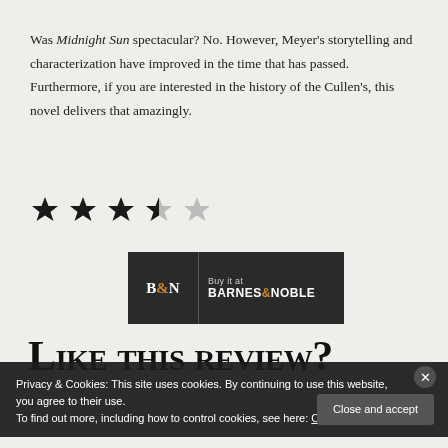Was Midnight Sun spectacular? No. However, Meyer's storytelling and characterization have improved in the time that has passed. Furthermore, if you are interested in the history of the Cullen's, this novel delivers that amazingly.
[Figure (other): Star rating: 3.5 out of 5 stars (3 full black stars, 1 half black/grey star, 1 grey empty star)]
[Figure (other): Barnes & Noble buy button: dark background with B&N logo on left and 'Buy it at BARNES&NOBLE' text on right]
Like this review?
Privacy & Cookies: This site uses cookies. By continuing to use this website, you agree to their use.
To find out more, including how to control cookies, see here: Cookie Policy